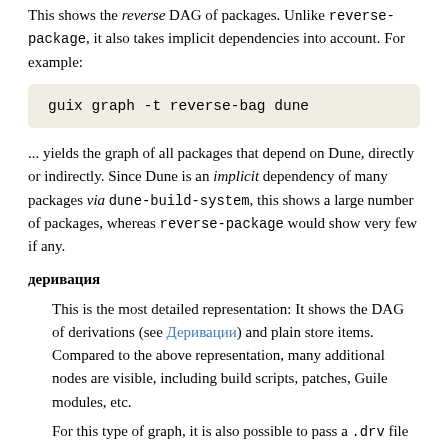This shows the reverse DAG of packages. Unlike reverse-package, it also takes implicit dependencies into account. For example:
[Figure (screenshot): Code block showing: guix graph -t reverse-bag dune]
... yields the graph of all packages that depend on Dune, directly or indirectly. Since Dune is an implicit dependency of many packages via dune-build-system, this shows a large number of packages, whereas reverse-package would show very few if any.
деривация
This is the most detailed representation: It shows the DAG of derivations (see Деривации) and plain store items. Compared to the above representation, many additional nodes are visible, including build scripts, patches, Guile modules, etc.
For this type of graph, it is also possible to pass a .drv file